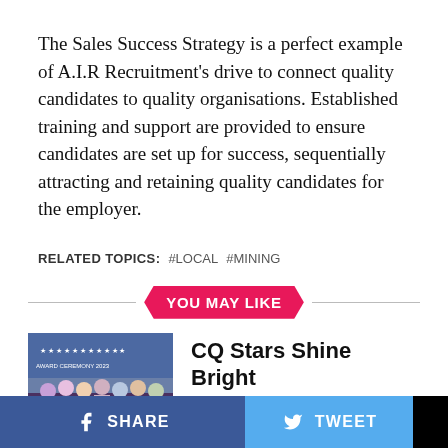The Sales Success Strategy is a perfect example of A.I.R Recruitment's drive to connect quality candidates to quality organisations. Established training and support are provided to ensure candidates are set up for success, sequentially attracting and retaining quality candidates for the employer.
RELATED TOPICS: #LOCAL #MINING
YOU MAY LIKE
[Figure (photo): Group photo of award recipients at an event, people in formal attire holding certificates]
CQ Stars Shine Bright
[Figure (photo): Outdoor scene related to mining or women in mining event]
Celebrating Women In Mining
SHARE   TWEET